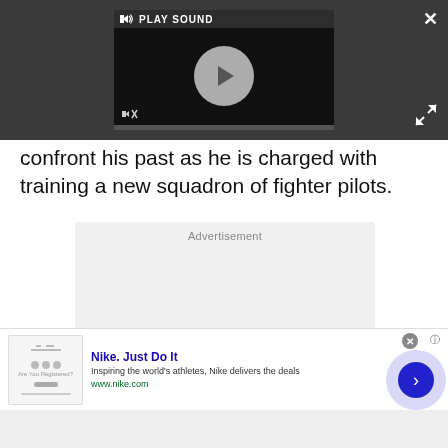[Figure (screenshot): Video player UI with PLAY SOUND label, play button circle, mute icon, progress bar, close X button, and expand arrows, on dark background]
confront his past as he is charged with training a new squadron of fighter pilots.
[Figure (screenshot): Advertisement placeholder box with 'Advertisement' label]
[Figure (screenshot): Nike ad banner: 'Nike. Just Do It' with description 'Inspiring the world's athletes, Nike delivers the deals' and URL www.nike.com, with close button, info icon, and blue arrow circle button]